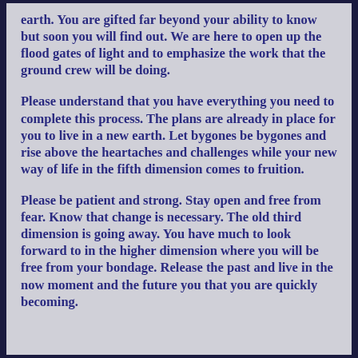earth. You are gifted far beyond your ability to know but soon you will find out. We are here to open up the flood gates of light and to emphasize the work that the ground crew will be doing.
Please understand that you have everything you need to complete this process. The plans are already in place for you to live in a new earth. Let bygones be bygones and rise above the heartaches and challenges while your new way of life in the fifth dimension comes to fruition.
Please be patient and strong. Stay open and free from fear. Know that change is necessary. The old third dimension is going away. You have much to look forward to in the higher dimension where you will be free from your bondage. Release the past and live in the now moment and the future you that you are quickly becoming.